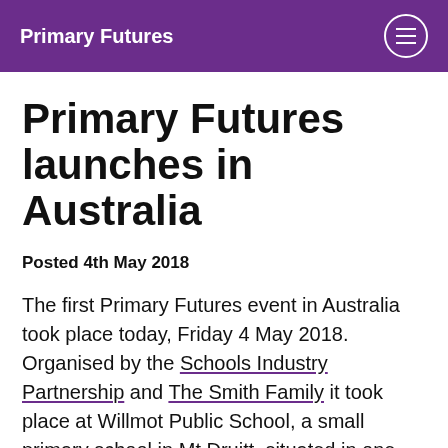Primary Futures
Primary Futures launches in Australia
Posted 4th May 2018
The first Primary Futures event in Australia took place today, Friday 4 May 2018. Organised by the Schools Industry Partnership and The Smith Family it took place at Willmot Public School, a small primary school in Mt Druitt, situated in one